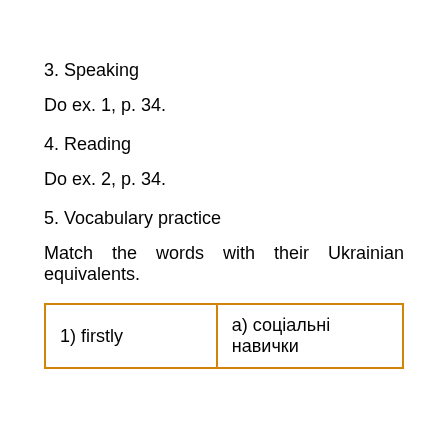3. Speaking
Do ex. 1, p. 34.
4. Reading
Do ex. 2, p. 34.
5. Vocabulary practice
Match the words with their Ukrainian equivalents.
| 1) firstly | а) соціальні навички |